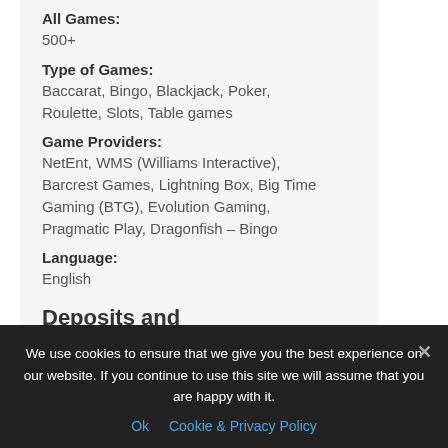All Games:
500+
Type of Games:
Baccarat, Bingo, Blackjack, Poker, Roulette, Slots, Table games
Game Providers:
NetEnt, WMS (Williams Interactive), Barcrest Games, Lightning Box, Big Time Gaming (BTG), Evolution Gaming, Pragmatic Play, Dragonfish – Bingo
Language:
English
Deposits and withdrawals
We use cookies to ensure that we give you the best experience on our website. If you continue to use this site we will assume that you are happy with it.
Ok  Cookie & Privacy Policy